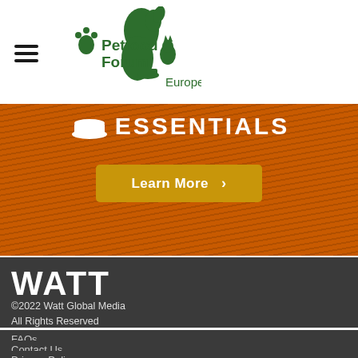Petfood Forum Europe
[Figure (illustration): Orange/dark-orange textured banner section with a bowl icon and 'ESSENTIALS' text in white, and a gold 'Learn More >' button]
WATT
©2022 Watt Global Media
All Rights Reserved
FAQs
Contact Us
Privacy Policy